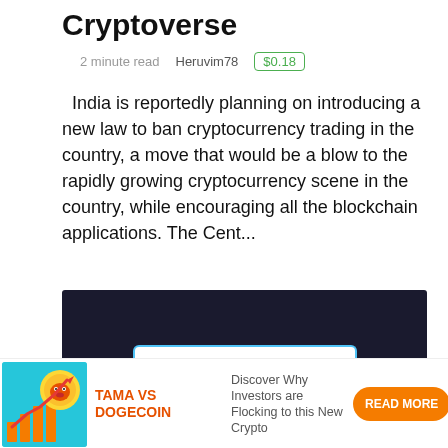Cryptoverse
2 minute read   Heruvim78   $0.18
India is reportedly planning on introducing a new law to ban cryptocurrency trading in the country, a move that would be a blow to the rapidly growing cryptocurrency scene in the country, while encouraging all the blockchain applications. The Cent...
[Figure (screenshot): Dark navy background with a white rounded rectangle panel visible at the bottom center, resembling a website or app interface screenshot]
[Figure (infographic): Ad banner: illustration of a Shiba Inu dogecoin meme with rising bar chart and red arrow on teal background. Text: TAMA VS DOGECOIN. Discover Why Investors are Flocking to this New Crypto. READ MORE button in orange.]